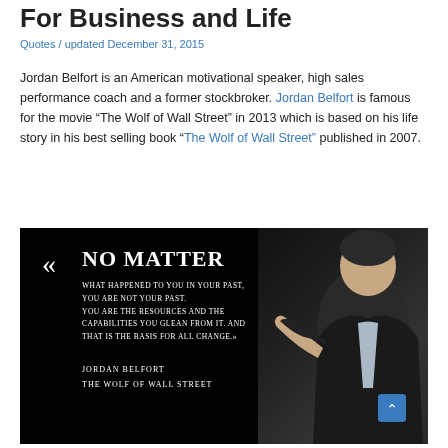For Business and Life
Quotes / updated December 31, 2015
Jordan Belfort is an American motivational speaker, high sales performance coach and a former stockbroker. Jordan Belfort is famous for the movie “The Wolf of Wall Street” in 2013 which is based on his life story in his best selling book “The Wolf of Wall Street” published in 2007.
[Figure (photo): Black background motivational quote image with text: « NO MATTER WHAT HAPPENED TO YOU IN YOUR PAST, YOU ARE NOT YOUR PAST. YOU ARE THE RESOURCES AND THE CAPABILITIES YOU GLEAN FROM IT. AND THAT IS THE BASIS FOR ALL CHANGE.» JORDAN BELFORT THE WOLF OF WALL STREET. A man in a suit pointing is visible on the right side.]